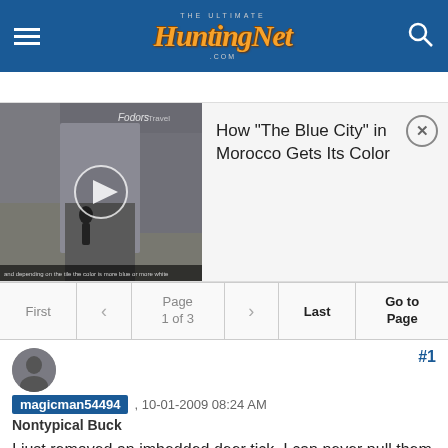HuntingNet - The Ultimate Hunting Community
[Figure (screenshot): Video thumbnail showing a street scene with a play button overlay, labeled Fodors Travel, with caption text about color. Title reads: How "The Blue City" in Morocco Gets Its Color]
How "The Blue City" in Morocco Gets Its Color
First  <  Page 1 of 3  >  Last  Go to Page
magicman54494 , 10-01-2009 08:24 AM
Nontypical Buck
I just removed an imbedded deer tick. I can never pull them out. I always break them off and end up with part of them still in me. Regular ticks always pull easy but I never can